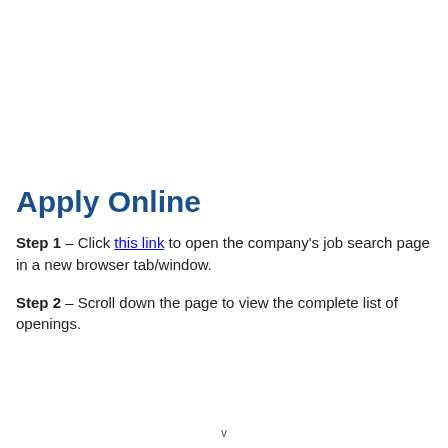Apply Online
Step 1 – Click this link to open the company's job search page in a new browser tab/window.
Step 2 – Scroll down the page to view the complete list of openings.
v